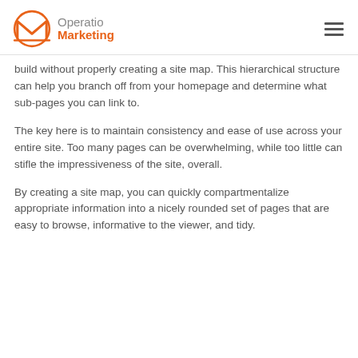Operatio Marketing
build without properly creating a site map. This hierarchical structure can help you branch off from your homepage and determine what sub-pages you can link to.
The key here is to maintain consistency and ease of use across your entire site. Too many pages can be overwhelming, while too little can stifle the impressiveness of the site, overall.
By creating a site map, you can quickly compartmentalize appropriate information into a nicely rounded set of pages that are easy to browse, informative to the viewer, and tidy.